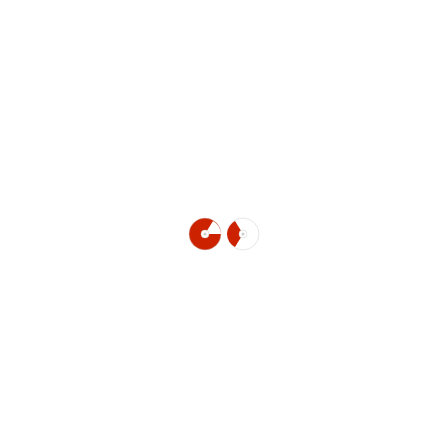[Figure (logo): Two small circular disc icons side by side, each showing a red and white design resembling a CD or disc symbol, centered on the page slightly below the vertical midpoint.]